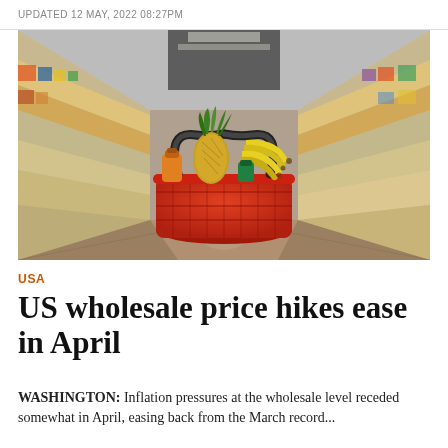UPDATED 12 MAY, 2022 08:27PM
[Figure (photo): A red shopping basket filled with groceries including a pineapple and bananas, sitting on the floor of a supermarket aisle with shelves of products on both sides receding into the background.]
USA
US wholesale price hikes ease in April
WASHINGTON: Inflation pressures at the wholesale level receded somewhat in April, easing back from the March record...